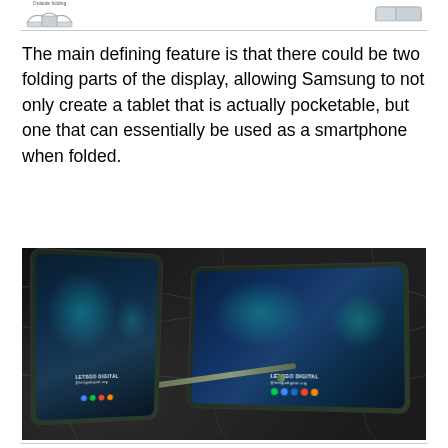[Figure (illustration): Partial view of folding phone diagrams at the top of the page, cropped by page boundary, with a horizontal divider line below.]
The main defining feature is that there could be two folding parts of the display, allowing Samsung to not only create a tablet that is actually pocketable, but one that can essentially be used as a smartphone when folded.
[Figure (photo): Rendered concept photo showing two Samsung foldable devices (one folded like a smartphone, one unfolded like a tablet) placed on a dark marble surface alongside a Samsung S-Pen stylus. The screens display a colorful teal/blue wallpaper with the LETSGO DIGITAL watermark and app icons visible.]